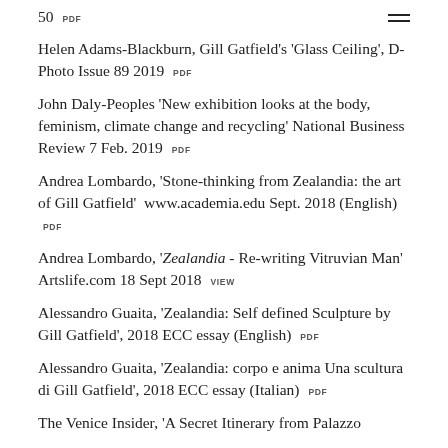50 PDF
Helen Adams-Blackburn, Gill Gatfield's 'Glass Ceiling', D-Photo Issue 89 2019  PDF
John Daly-Peoples 'New exhibition looks at the body, feminism, climate change and recycling' National Business Review 7 Feb. 2019  PDF
Andrea Lombardo, 'Stone-thinking from Zealandia: the art of Gill Gatfield'  www.academia.edu Sept. 2018 (English)  PDF
Andrea Lombardo, 'Zealandia - Re-writing Vitruvian Man' Artslife.com 18 Sept 2018  VIEW
Alessandro Guaita, 'Zealandia: Self defined Sculpture by Gill Gatfield', 2018 ECC essay (English)  PDF
Alessandro Guaita, 'Zealandia: corpo e anima Una scultura di Gill Gatfield', 2018 ECC essay (Italian)  PDF
The Venice Insider, 'A Secret Itinerary from Palazzo